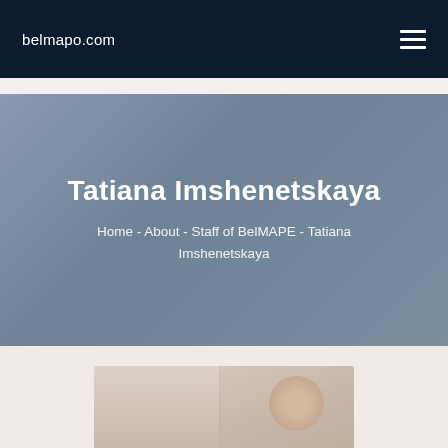belmapo.com
Tatiana Imshenetskaya
Home - About - Staff of BelMAPE - Tatiana Imshenetskaya
[Figure (photo): Partial photo of Tatiana Imshenetskaya at the bottom of the page]